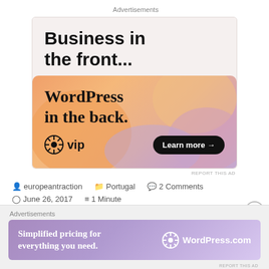Advertisements
[Figure (illustration): WordPress VIP advertisement banner: 'Business in the front... WordPress in the back.' with colorful gradient background and Learn more button]
REPORT THIS AD
europeantraction   Portugal   2 Comments   June 26, 2017   1 Minute
Advertisements
[Figure (illustration): WordPress.com advertisement banner: 'Simplified pricing for everything you need.' with purple gradient background and WordPress.com logo]